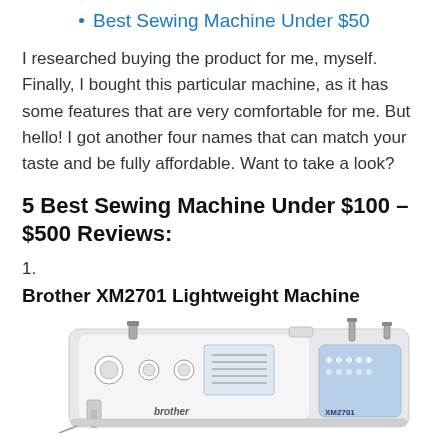Best Sewing Machine Under $50
I researched buying the product for me, myself. Finally, I bought this particular machine, as it has some features that are very comfortable for me. But hello! I got another four names that can match your taste and be fully affordable. Want to take a look?
5 Best Sewing Machine Under $100 – $500 Reviews:
1.
Brother XM2701 Lightweight Machine
[Figure (photo): Photo of a Brother XM2701 sewing machine, white body with blue accent panel, showing the front and side, with presser foot and thread guides visible. The Brother logo and XM2701 model name are visible on the machine.]